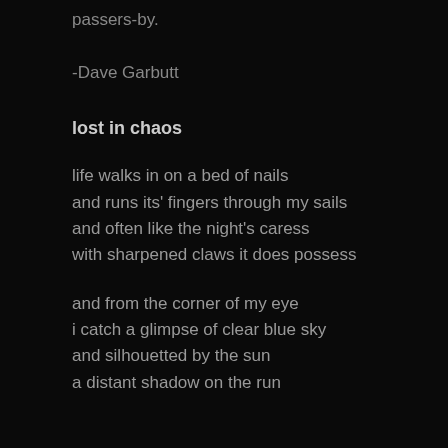passers-by.
-Dave Garbutt
lost in chaos
life walks in on a bed of nails
and runs its' fingers through my sails
and often like the night's caress
with sharpened claws it does possess
and from the corner of my eye
i catch a glimpse of clear blue sky
and silhouetted by the sun
a distant shadow on the run